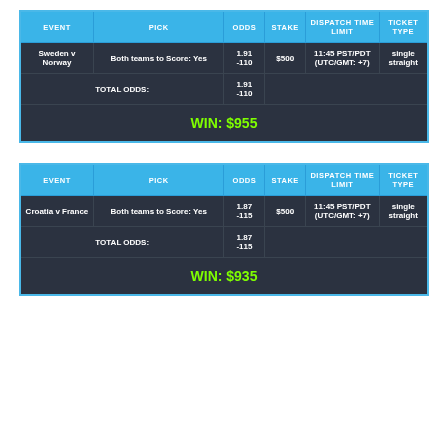| EVENT | PICK | ODDS | STAKE | DISPATCH TIME LIMIT | TICKET TYPE |
| --- | --- | --- | --- | --- | --- |
| Sweden v Norway | Both teams to Score: Yes | 1.91
-110 | $500 | 11:45 PST/PDT
(UTC/GMT: +7) | single straight |
|  | TOTAL ODDS: | 1.91
-110 |  |  |  |
| WIN: $955 |  |  |  |  |  |
| EVENT | PICK | ODDS | STAKE | DISPATCH TIME LIMIT | TICKET TYPE |
| --- | --- | --- | --- | --- | --- |
| Croatia v France | Both teams to Score: Yes | 1.87
-115 | $500 | 11:45 PST/PDT
(UTC/GMT: +7) | single straight |
|  | TOTAL ODDS: | 1.87
-115 |  |  |  |
| WIN: $935 |  |  |  |  |  |